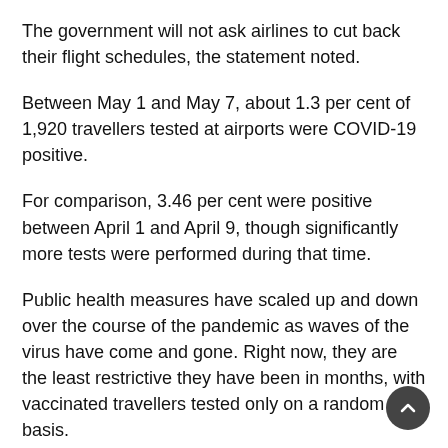The government will not ask airlines to cut back their flight schedules, the statement noted.
Between May 1 and May 7, about 1.3 per cent of 1,920 travellers tested at airports were COVID-19 positive.
For comparison, 3.46 per cent were positive between April 1 and April 9, though significantly more tests were performed during that time.
Public health measures have scaled up and down over the course of the pandemic as waves of the virus have come and gone. Right now, they are the least restrictive they have been in months, with vaccinated travellers tested only on a random basis.